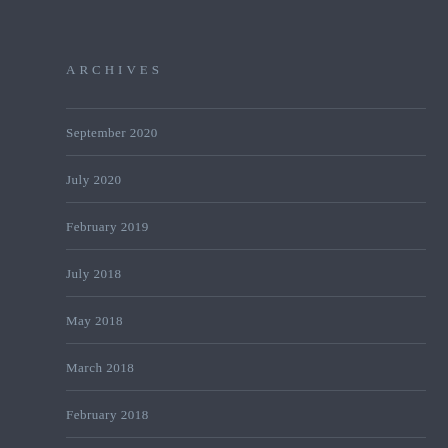ARCHIVES
September 2020
July 2020
February 2019
July 2018
May 2018
March 2018
February 2018
October 2017